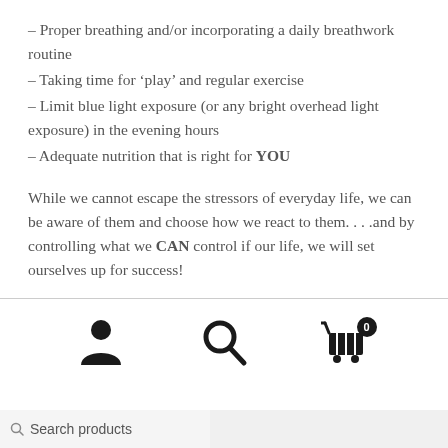– Proper breathing and/or incorporating a daily breathwork routine
– Taking time for ‘play’ and regular exercise
– Limit blue light exposure (or any bright overhead light exposure) in the evening hours
– Adequate nutrition that is right for YOU
While we cannot escape the stressors of everyday life, we can be aware of them and choose how we react to them.…and by controlling what we CAN control if our life, we will set ourselves up for success!
[Figure (infographic): Website footer icon bar with three icons: user/person icon, search/magnifying glass icon, and shopping cart icon with a badge showing 0]
[Figure (screenshot): Bottom of webpage showing a search products input box and a gray area to the right]